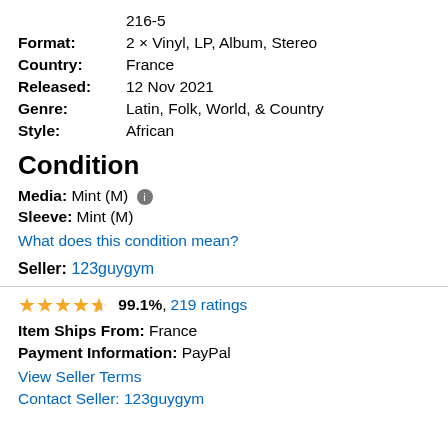216-5
Format: 2 × Vinyl, LP, Album, Stereo
Country: France
Released: 12 Nov 2021
Genre: Latin, Folk, World, & Country
Style: African
Condition
Media: Mint (M)
Sleeve: Mint (M)
What does this condition mean?
Seller: 123guygym
99.1%, 219 ratings
Item Ships From: France
Payment Information: PayPal
View Seller Terms
Contact Seller: 123guygym